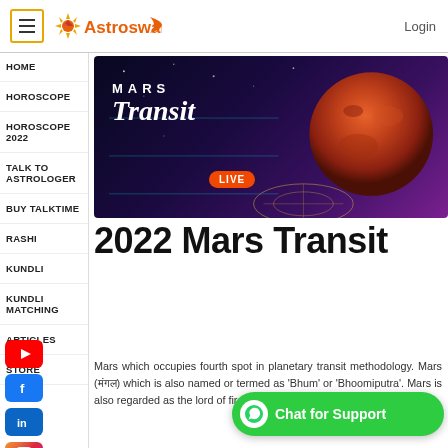Astroswami | Login
HOME
HOROSCOPE
[Figure (photo): Mars Transit banner image with planet Mars on dark purple/space background with MARS Transit text and LIVE badge]
HOROSCOPE 2022
TALK TO ASTROLOGER
BUY TALKTIME
2022 Mars Transit
RASHI
KUNDLI
KUNDLI MATCHING
ARTICLES
STORE
Mars which occupies fourth spot in planetary transit methodology. Mars (मंगल) which is also named or termed as 'Bhum' or 'Bhoomiputra'. Mars is also regarded as the lord of fire element (अग्नि तत्व) (मंगल).